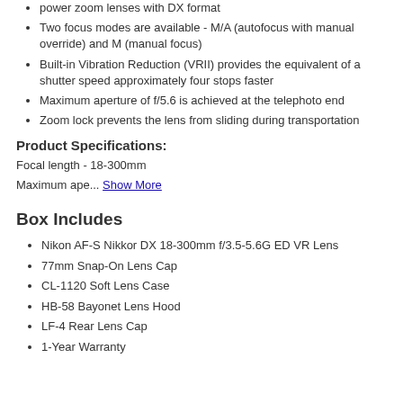power zoom lenses with DX format
Two focus modes are available - M/A (autofocus with manual override) and M (manual focus)
Built-in Vibration Reduction (VRII) provides the equivalent of a shutter speed approximately four stops faster
Maximum aperture of f/5.6 is achieved at the telephoto end
Zoom lock prevents the lens from sliding during transportation
Product Specifications:
Focal length - 18-300mm
Maximum ape... Show More
Box Includes
Nikon AF-S Nikkor DX 18-300mm f/3.5-5.6G ED VR Lens
77mm Snap-On Lens Cap
CL-1120 Soft Lens Case
HB-58 Bayonet Lens Hood
LF-4 Rear Lens Cap
1-Year Warranty